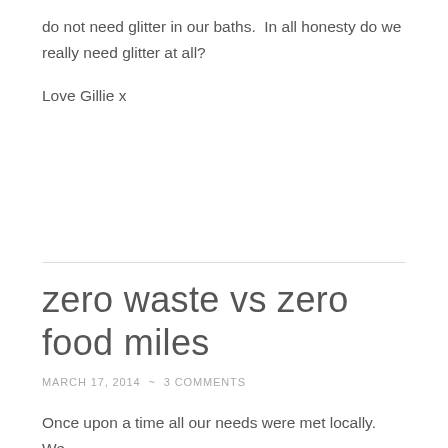do not need glitter in our baths.  In all honesty do we really need glitter at all?
Love Gillie x
zero waste vs zero food miles
MARCH 17, 2014  ~  3 COMMENTS
Once upon a time all our needs were met locally.  We